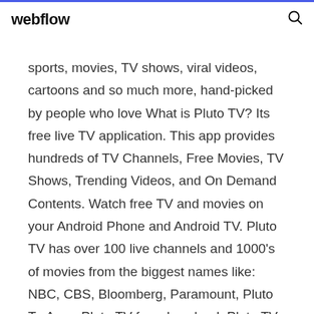webflow
sports, movies, TV shows, viral videos, cartoons and so much more, hand-picked by people who love What is Pluto TV? Its free live TV application. This app provides hundreds of TV Channels, Free Movies, TV Shows, Trending Videos, and On Demand Contents. Watch free TV and movies on your Android Phone and Android TV. Pluto TV has over 100 live channels and 1000's of movies from the biggest names like: NBC, CBS, Bloomberg, Paramount, Pluto Tv App - Pluto TV free download. Pluto TV is a computer program used to watch TV over the Internet.Using Pluto TV you have access to different TV channels, TV shows, movies or Internet video.Pluto TV